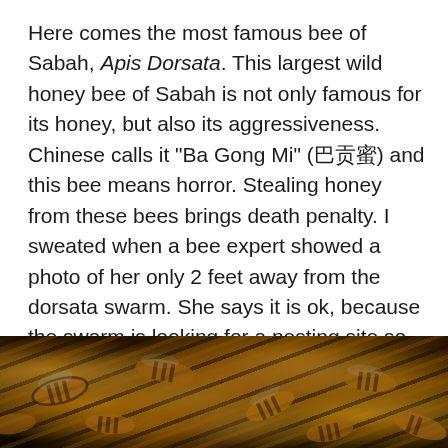Here comes the most famous bee of Sabah, Apis Dorsata. This largest wild honey bee of Sabah is not only famous for its honey, but also its aggressiveness. Chinese calls it "Ba Gong Mi" (巴贡蜜) and this bee means horror. Stealing honey from these bees brings death penalty. I sweated when a bee expert showed a photo of her only 2 feet away from the dorsata swarm. She says it is ok, because the swarm is looking for a nesting site so the bees are not in the mood of protecting honey. I can't read bee language so I will never dare to try that. I advise you not to too..
[Figure (photo): Close-up photograph of Apis Dorsata bees (giant honey bees) clustered together, showing their distinctive yellow and black striped abdomens and wings, dark background.]